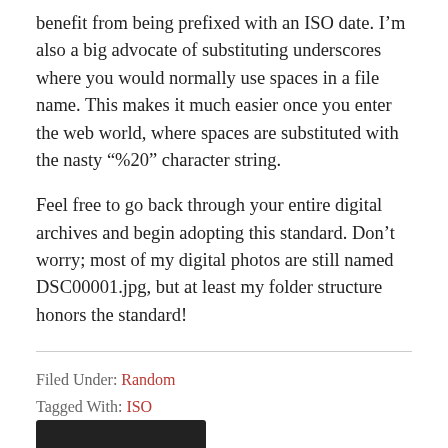benefit from being prefixed with an ISO date. I'm also a big advocate of substituting underscores where you would normally use spaces in a file name. This makes it much easier once you enter the web world, where spaces are substituted with the nasty “%20” character string.
Feel free to go back through your entire digital archives and begin adopting this standard. Don’t worry; most of my digital photos are still named DSC00001.jpg, but at least my folder structure honors the standard!
Filed Under: Random
Tagged With: ISO